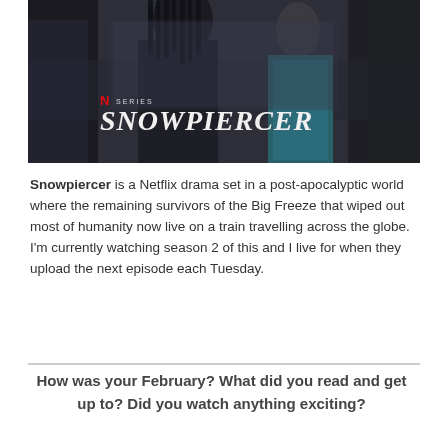[Figure (photo): Promotional banner image for the Netflix series Snowpiercer, showing two characters facing each other with the show's title and Netflix logo overlaid on the image.]
Snowpiercer is a Netflix drama set in a post-apocalyptic world where the remaining survivors of the Big Freeze that wiped out most of humanity now live on a train travelling across the globe. I'm currently watching season 2 of this and I live for when they upload the next episode each Tuesday.
How was your February? What did you read and get up to? Did you watch anything exciting?